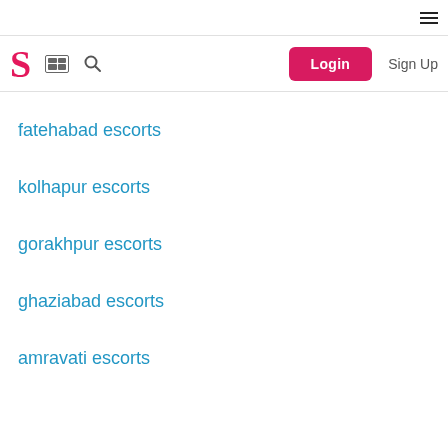Navigation bar with logo S, grid icon, search icon, Login button, Sign Up link, and hamburger menu
fatehabad escorts
kolhapur escorts
gorakhpur escorts
ghaziabad escorts
amravati escorts